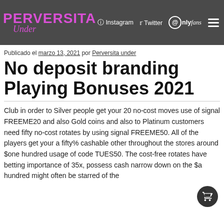PERVERSITA Under | Instagram | Twitter | OnlyFans
Publicado el marzo 13, 2021 por Perversita under
No deposit branding Playing Bonuses 2021
Club in order to Silver people get your 20 no-cost moves use of signal FREEME20 and also Gold coins and also to Platinum customers need fifty no-cost rotates by using signal FREEME50. All of the players get your a fifty% cashable other throughout the stores around $one hundred usage of code TUES50. The cost-free rotates have betting importance of 35x, possess cash narrow down on the $a hundred might often be starred of the